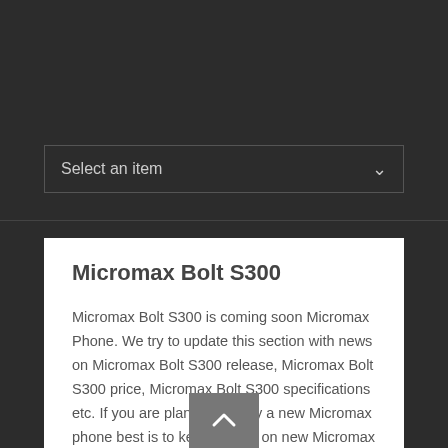[Figure (screenshot): Dark gray top background area representing a website header region]
Select an item
Micromax Bolt S300
Micromax Bolt S300 is coming soon Micromax Phone. We try to update this section with news on Micromax Bolt S300 release, Micromax Bolt S300 price, Micromax Bolt S300 specifications etc. If you are planning to buy a new Micromax phone best is to keep an eye on new Micromax Bolt S300 coming soon.